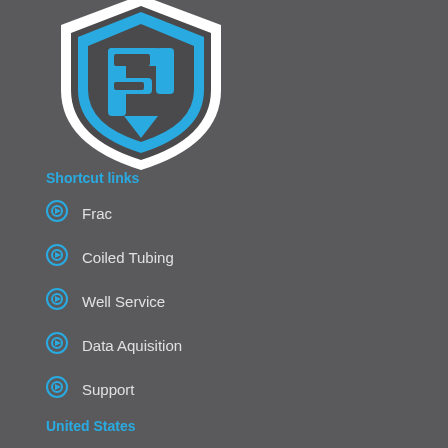[Figure (logo): Shield-shaped logo with a stylized P/F letter mark in blue and dark gray with white outline, partially cropped at top]
Shortcut links
Frac
Coiled Tubing
Well Service
Data Aquisition
Support
United States